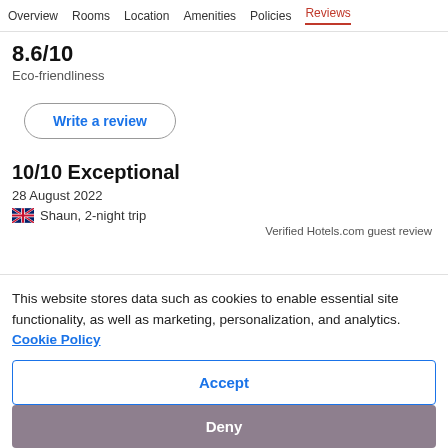Overview  Rooms  Location  Amenities  Policies  Reviews
8.6/10
Eco-friendliness
Write a review
10/10 Exceptional
28 August 2022
Shaun, 2-night trip
Verified Hotels.com guest review
This website stores data such as cookies to enable essential site functionality, as well as marketing, personalization, and analytics. Cookie Policy
Accept
Deny